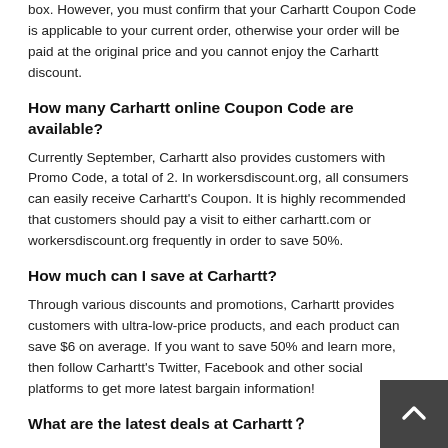box. However, you must confirm that your Carhartt Coupon Code is applicable to your current order, otherwise your order will be paid at the original price and you cannot enjoy the Carhartt discount.
How many Carhartt online Coupon Code are available?
Currently September, Carhartt also provides customers with Promo Code, a total of 2. In workersdiscount.org, all consumers can easily receive Carhartt's Coupon. It is highly recommended that customers should pay a visit to either carhartt.com or workersdiscount.org frequently in order to save 50%.
How much can I save at Carhartt?
Through various discounts and promotions, Carhartt provides customers with ultra-low-price products, and each product can save $6 on average. If you want to save 50% and learn more, then follow Carhartt's Twitter, Facebook and other social platforms to get more latest bargain information!
What are the latest deals at Carhartt？
workersdiscount.org will update the coupon code of Carhartt every day randomly. The latest discount of Carhartt is Free Shipping On Storewide . Exclusions: Using Vpn Works For Uk Store, you can click to view it to enjoy 50%, or you can receive other Carhartt coupon codes to get more discounts for your